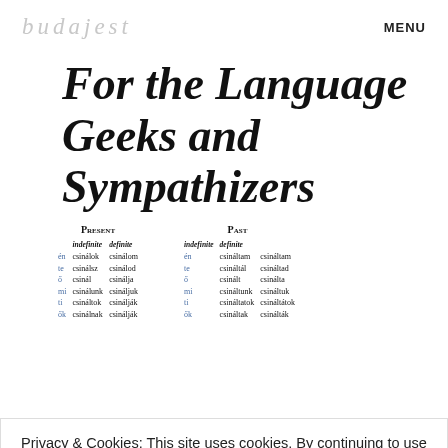budajest   MENU
For the Language Geeks and Sympathizers
| PRESENT | indefinite | definite | PAST | indefinite | definite |
| --- | --- | --- | --- | --- | --- |
| én | csinálok | csinálom | én | csináltam | csináltam |
| te | csinálsz | csinálod | te | csináltál | csináltad |
| ő | csinál | csinálja | ő | csinált | csinálta |
| mi | csinálunk | csináljuk | mi | csináltunk | csináltuk |
| ti | csináltok | csinálják | ti | csináltatok | csináltátok |
| ők | csinálnak | csinálják | ők | csináltak | csinálták |
Privacy & Cookies: This site uses cookies. By continuing to use this website, you agree to their use.
To find out more, including how to control cookies, see here: Cookie Policy
Close and accept